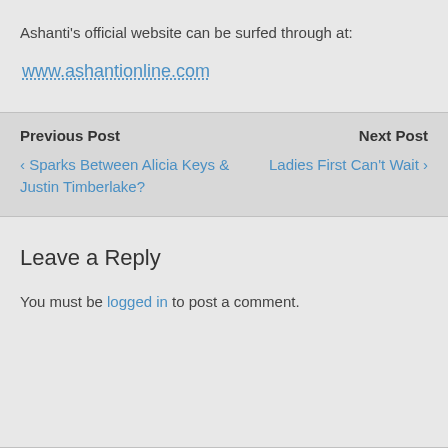Ashanti's official website can be surfed through at:
www.ashantionline.com
Previous Post
‹ Sparks Between Alicia Keys & Justin Timberlake?
Next Post
Ladies First Can't Wait ›
Leave a Reply
You must be logged in to post a comment.